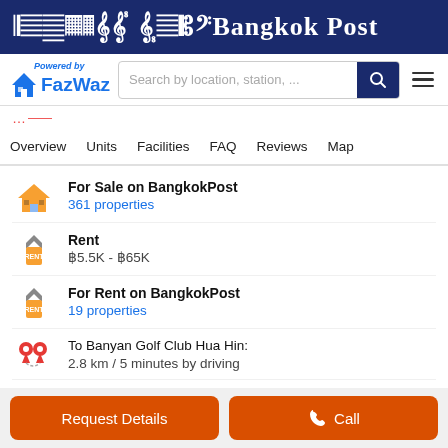Bangkok Post
[Figure (logo): FazWaz logo with 'Powered by' text and house icon]
Search by location, station, ...
Overview | Units | Facilities | FAQ | Reviews | Map
For Sale on BangkokPost
361 properties
Rent
฿5.5K - ฿65K
For Rent on BangkokPost
19 properties
To Banyan Golf Club Hua Hin:
2.8 km / 5 minutes by driving
To Hua Hin Airport:
17.0 km / 24 minutes by driving
Request Details | Call